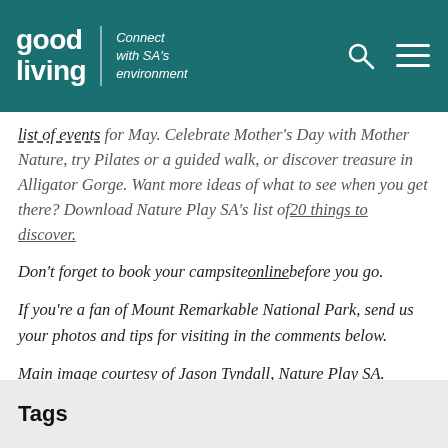good living | Connect with SA's environment
list of events for May. Celebrate Mother's Day with Mother Nature, try Pilates or a guided walk, or discover treasure in Alligator Gorge. Want more ideas of what to see when you get there? Download Nature Play SA's list of 20 things to discover.
Don't forget to book your campsite online before you go.
If you're a fan of Mount Remarkable National Park, send us your photos and tips for visiting in the comments below.
Main image courtesy of Jason Tyndall, Nature Play SA.
Tags